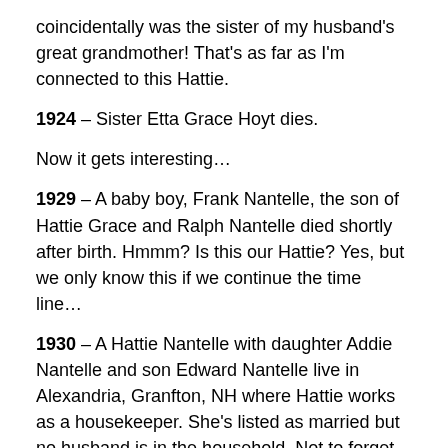coincidentally was the sister of my husband's great grandmother! That's as far as I'm connected to this Hattie.
1924 – Sister Etta Grace Hoyt dies.
Now it gets interesting…
1929 – A baby boy, Frank Nantelle, the son of Hattie Grace and Ralph Nantelle died shortly after birth. Hmmm? Is this our Hattie? Yes, but we only know this if we continue the time line…
1930 – A Hattie Nantelle with daughter Addie Nantelle and son Edward Nantelle live in Alexandria, Granfton, NH where Hattie works as a housekeeper. She's listed as married but no husband is in the household. Not to forget about little Christabelle Hopkins. She is unfortunately living at age 11 in the Laconia State School in Laconia, NH. A